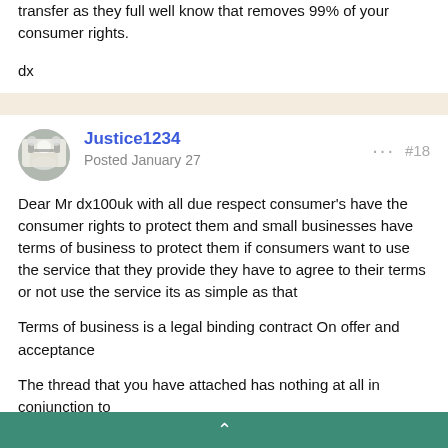transfer as they full well know that removes 99% of your consumer rights.
dx
Justice1234
Posted January 27
#18
Dear Mr dx100uk with all due respect consumer's have the consumer rights to protect them and small businesses have terms of business to protect them if consumers want to use the service that they provide they have to agree to their terms or not use the service its as simple as that
Terms of business is a legal binding contract On offer and acceptance
The thread that you have attached has nothing at all in conjunction to